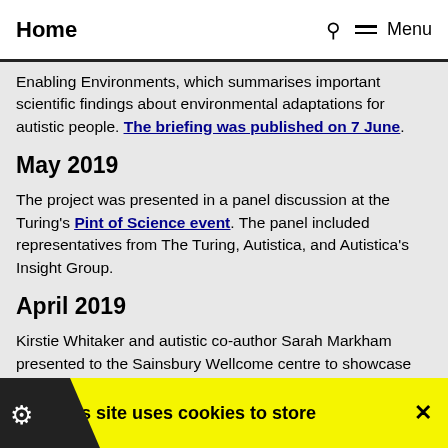Home  Menu
Enabling Environments, which summarises important scientific findings about environmental adaptations for autistic people. The briefing was published on 7 June.
May 2019
The project was presented in a panel discussion at the Turing's Pint of Science event. The panel included representatives from The Turing, Autistica, and Autistica's Insight Group.
April 2019
Kirstie Whitaker and autistic co-author Sarah Markham presented to the Sainsbury Wellcome centre to showcase novel models of research to an audience of
This site uses cookies to store